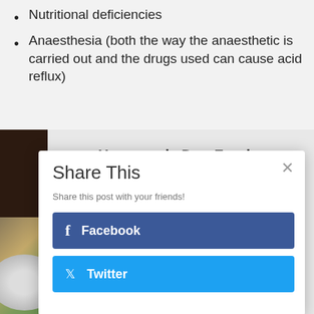Nutritional deficiencies
Anaesthesia (both the way the anaesthetic is carried out and the drugs used can cause acid reflux)
[Figure (photo): Book cover for 'Homemade Dog Food Made Easy' with a bowl of homemade dog food on a wooden surface]
Homemade Dog Food Made Easy
instantly improve the health of your dog with healthy home cooked dog food. Step-by-step guide complete with recipes!
Share This
Share this post with your friends!
Facebook
Twitter